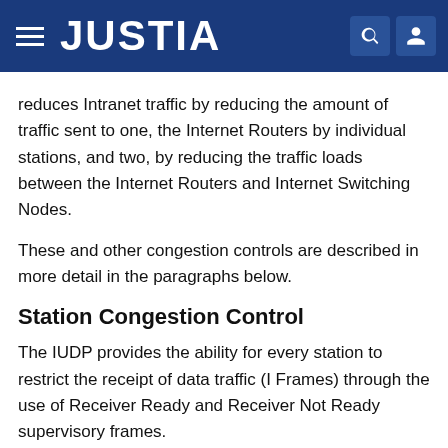JUSTIA
reduces Intranet traffic by reducing the amount of traffic sent to one, the Internet Routers by individual stations, and two, by reducing the traffic loads between the Internet Routers and Internet Switching Nodes.
These and other congestion controls are described in more detail in the paragraphs below.
Station Congestion Control
The IUDP provides the ability for every station to restrict the receipt of data traffic (I Frames) through the use of Receiver Ready and Receiver Not Ready supervisory frames.
Congestion normally occurs when buffer or queue resources are almost exhausted. This event causes a station to set the Receiver Not Ready condition on its